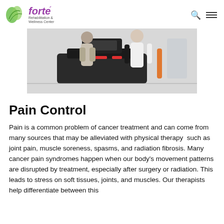forte Rehabilitation & Wellness Center
[Figure (photo): Two people at a treadmill in a rehabilitation or wellness center, one assisting the other during exercise.]
Pain Control
Pain is a common problem of cancer treatment and can come from many sources that may be alleviated with physical therapy  such as joint pain, muscle soreness, spasms, and radiation fibrosis. Many cancer pain syndromes happen when our body's movement patterns are disrupted by treatment, especially after surgery or radiation. This leads to stress on soft tissues, joints, and muscles. Our therapists help differentiate between this